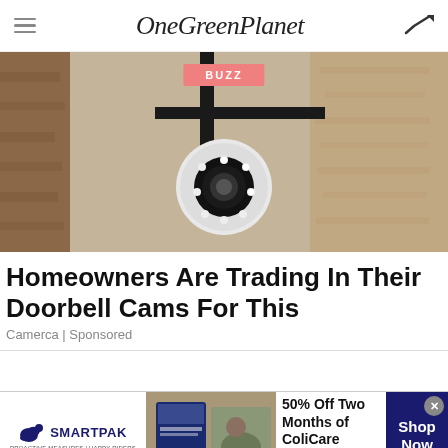OneGreenPlanet
[Figure (photo): Close-up of a security camera mounted on a wall bracket, with LED lights, attached to a textured stone/concrete wall. A salmon-colored BUZZ badge overlays the top center.]
Homeowners Are Trading In Their Doorbell Cams For This
Camerca | Sponsored
[Figure (infographic): SmartPak advertisement banner: 50% Off Two Months of ColiCare, ColiCare Eligible Supplements, CODE: COLICARE10, with Shop Now button.]